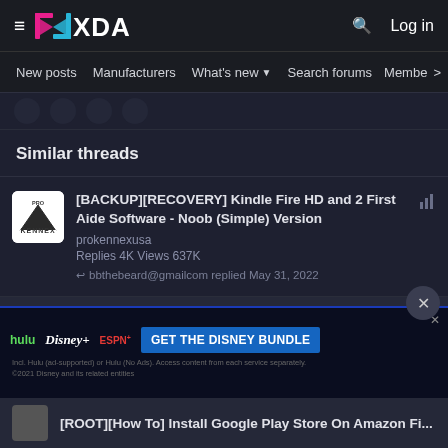XDA Developers — Log in
New posts  Manufacturers  What's new  Search forums  Members
Similar threads
[BACKUP][RECOVERY] Kindle Fire HD and 2 First Aide Software - Noob (Simple) Version
prokennexusa
Replies 4K  Views 637K
↩ bbthebeard@gmailcom replied May 31, 2022
[ROOT][HOW TO] Root the Kindle Fire HD and 2 with Windows - Noob (Simple) Version
[Figure (screenshot): Disney Bundle advertisement banner with Hulu, Disney+, and ESPN+ logos and GET THE DISNEY BUNDLE CTA]
[ROOT][How To] Install Google Play Store On Amazon Fi...